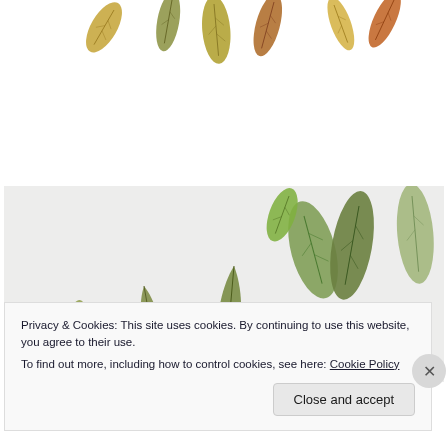[Figure (illustration): Botanical illustration of autumn leaves in golden, yellow-green, and brown tones scattered on a white background, viewed from above.]
[Figure (illustration): Botanical illustration of green and olive-toned leaves on a light gray background, scattered in various orientations.]
Privacy & Cookies: This site uses cookies. By continuing to use this website, you agree to their use.
To find out more, including how to control cookies, see here: Cookie Policy
Close and accept